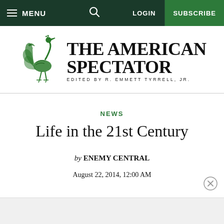MENU | [search] | LOGIN | SUBSCRIBE
[Figure (logo): The American Spectator logo with green peacock illustration and text 'THE AMERICAN SPECTATOR - EDITED BY R. EMMETT TYRRELL, JR.']
NEWS
Life in the 21st Century
by ENEMY CENTRAL
August 22, 2014, 12:00 AM